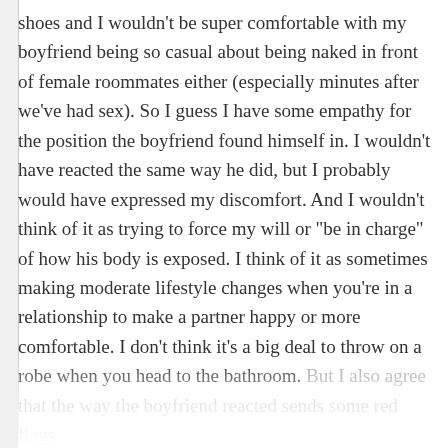shoes and I wouldn't be super comfortable with my boyfriend being so casual about being naked in front of female roommates either (especially minutes after we've had sex). So I guess I have some empathy for the position the boyfriend found himself in. I wouldn't have reacted the same way he did, but I probably would have expressed my discomfort. And I wouldn't think of it as trying to force my will or "be in charge" of how his body is exposed. I think of it as sometimes making moderate lifestyle changes when you're in a relationship to make a partner happy or more comfortable. I don't think it's a big deal to throw on a robe when you head to the bathroom. But I also agree that the way the boyfriend reacted sends some red flags.